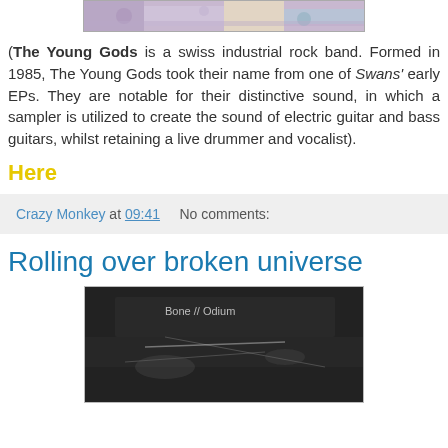[Figure (photo): Partial top image, colorful textured surface, cropped at top of page]
(The Young Gods is a swiss industrial rock band. Formed in 1985, The Young Gods took their name from one of Swans' early EPs. They are notable for their distinctive sound, in which a sampler is utilized to create the sound of electric guitar and bass guitars, whilst retaining a live drummer and vocalist).
Here
Crazy Monkey at 09:41    No comments:
Rolling over broken universe
[Figure (photo): Dark black and white image with text 'Bone // Odium' visible, abstract shapes and light streaks]